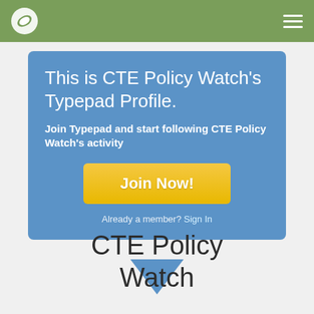CTE Policy Watch - Typepad
This is CTE Policy Watch's Typepad Profile.
Join Typepad and start following CTE Policy Watch's activity
Join Now!
Already a member? Sign In
CTE Policy Watch